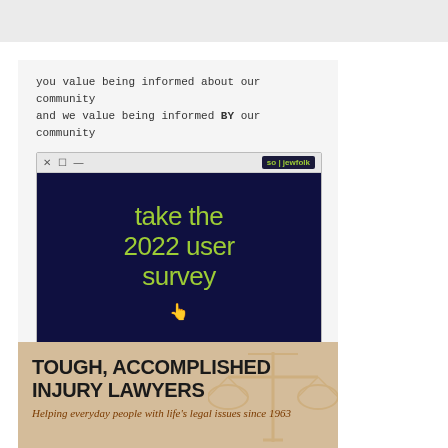[Figure (infographic): Top banner gray strip]
[Figure (infographic): Survey advertisement box with browser mock-up showing 'take the 2022 user survey' on dark navy background with lime green text, jewfolk branding, cursor icon, and text about guiding work and winning $50 Visa gift cards]
you value being informed about our community
and we value being informed BY our community
guide our work and enter to win
1 of 5 $50 Visa gift cards!
[Figure (infographic): Law firm advertisement with text TOUGH, ACCOMPLISHED INJURY LAWYERS, Helping everyday people with life's legal issues since 1963, with scales of justice icon background]